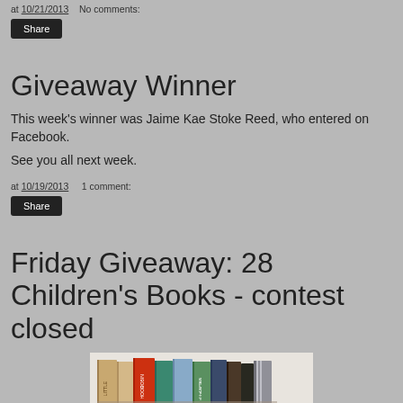at 10/21/2013   No comments:
Share
Giveaway Winner
This week's winner was Jaime Kae Stoke Reed, who entered on Facebook.
See you all next week.
at 10/19/2013   1 comment:
Share
Friday Giveaway: 28 Children's Books - contest closed
[Figure (photo): Row of children's books standing upright, spines visible including Robin Hood and others]